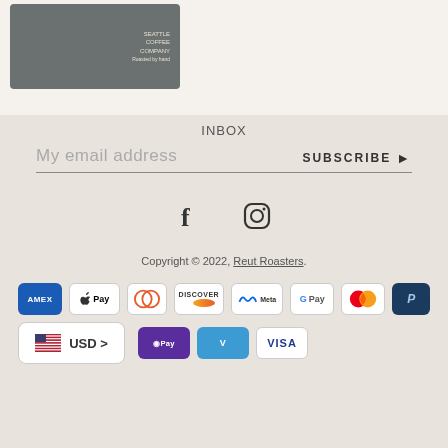[Figure (photo): Product package photo - coffee bag with grey packaging and label text]
INBOX
My email address
SUBSCRIBE ▶
[Figure (illustration): Social media icons: Facebook and Instagram]
Copyright © 2022, Reut Roasters.
[Figure (illustration): Payment method icons: AMEX, Apple Pay, Diners Club, Discover, Meta Pay, Google Pay, Mastercard, PayPal, Shop Pay, Venmo, Visa. Currency selector showing USD with US flag.]